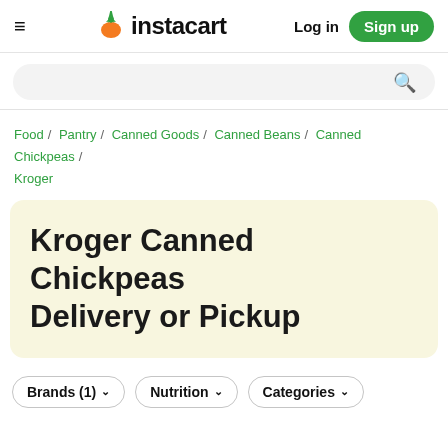≡ instacart  Log in  Sign up
Search bar
Food / Pantry / Canned Goods / Canned Beans / Canned Chickpeas / Kroger
Kroger Canned Chickpeas Delivery or Pickup
Brands (1) ∨  Nutrition ∨  Categories ∨